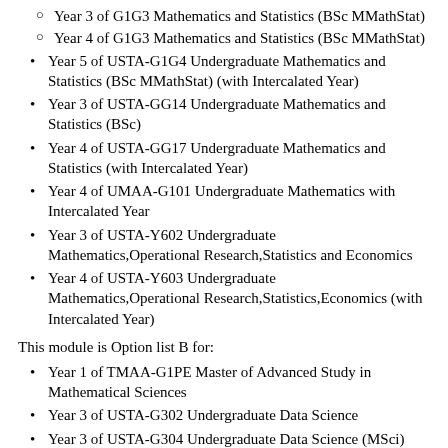Year 3 of G1G3 Mathematics and Statistics (BSc MMathStat)
Year 4 of G1G3 Mathematics and Statistics (BSc MMathStat)
Year 5 of USTA-G1G4 Undergraduate Mathematics and Statistics (BSc MMathStat) (with Intercalated Year)
Year 3 of USTA-GG14 Undergraduate Mathematics and Statistics (BSc)
Year 4 of USTA-GG17 Undergraduate Mathematics and Statistics (with Intercalated Year)
Year 4 of UMAA-G101 Undergraduate Mathematics with Intercalated Year
Year 3 of USTA-Y602 Undergraduate Mathematics,Operational Research,Statistics and Economics
Year 4 of USTA-Y603 Undergraduate Mathematics,Operational Research,Statistics,Economics (with Intercalated Year)
This module is Option list B for:
Year 1 of TMAA-G1PE Master of Advanced Study in Mathematical Sciences
Year 3 of USTA-G302 Undergraduate Data Science
Year 3 of USTA-G304 Undergraduate Data Science (MSci)
Year 4 of USTA-G303 Undergraduate Data Science (with